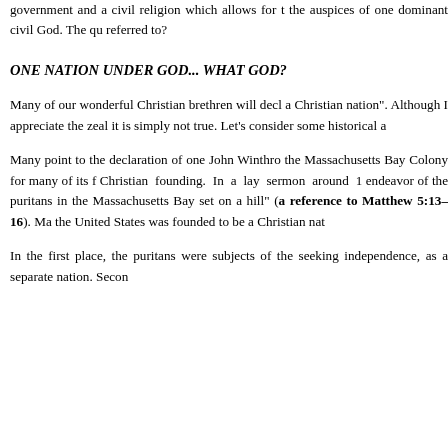government and a civil religion which allows for the auspices of one dominant civil God. The que referred to?
ONE NATION UNDER GOD... WHAT GOD?
Many of our wonderful Christian brethren will decl a Christian nation". Although I appreciate the zeal it is simply not true. Let’s consider some historical a
Many point to the declaration of one John Winthro the Massachusetts Bay Colony for many of its f Christian founding. In a lay sermon around 1 endeavor of the puritans in the Massachusetts Bay set on a hill" (a reference to Matthew 5:13–16). Ma the United States was founded to be a Christian nat
In the first place, the puritans were subjects of the seeking independence, as a separate nation. Secon